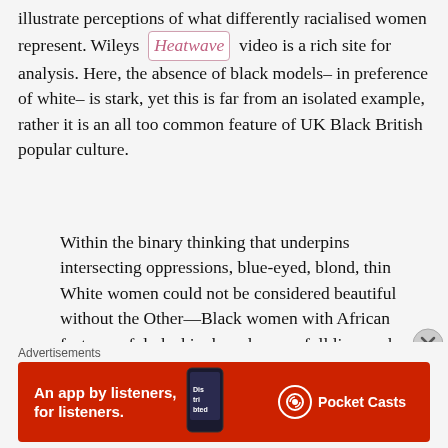illustrate perceptions of what differently racialised women represent. Wileys Heatwave video is a rich site for analysis. Here, the absence of black models– in preference of white– is stark, yet this is far from an isolated example, rather it is an all too common feature of UK Black British popular culture.
Within the binary thinking that underpins intersecting oppressions, blue-eyed, blond, thin White women could not be considered beautiful without the Other—Black women with African features of dark skin, broad noses, full lips, and kinky hair. Race, gender, and sexuality converge on this issue of evaluating beauty… African-American women experience the pain of never being able to live up to prevailing
Advertisements
[Figure (photo): Red Pocket Casts advertisement banner showing 'An app by listeners, for listeners.' text with a phone image and the Pocket Casts logo]